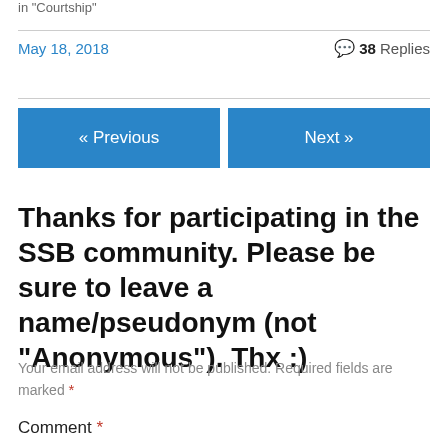in "Courtship"
May 18, 2018
38 Replies
« Previous
Next »
Thanks for participating in the SSB community. Please be sure to leave a name/pseudonym (not "Anonymous"). Thx :)
Your email address will not be published. Required fields are marked *
Comment *